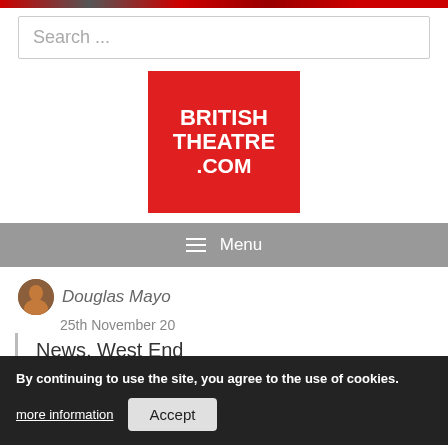Search ...
[Figure (logo): British Theatre .com logo — white bold text on red square background]
≡ Menu
Douglas Mayo
25th November 20
News, West End
By continuing to use the site, you agree to the use of cookies.
more information
Accept